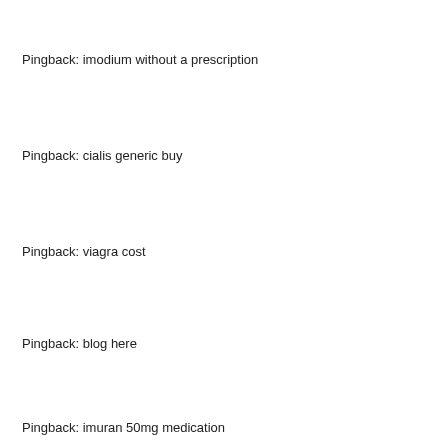Pingback: imodium without a prescription
Pingback: cialis generic buy
Pingback: viagra cost
Pingback: blog here
Pingback: imuran 50mg medication